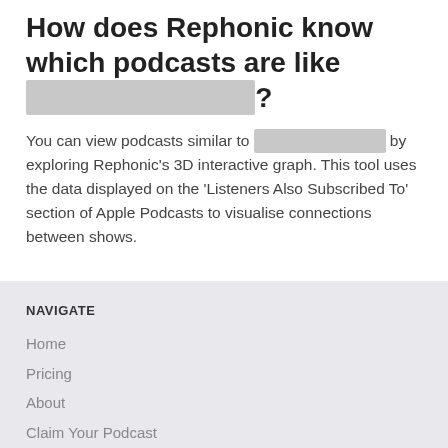How does Rephonic know which podcasts are like ░░░░░░░░░░░░?
You can view podcasts similar to ░░░░░░░░░░░░ by exploring Rephonic's 3D interactive graph. This tool uses the data displayed on the 'Listeners Also Subscribed To' section of Apple Podcasts to visualise connections between shows.
NAVIGATE
Home
Pricing
About
Claim Your Podcast
My Account
Developer API
FEATURES